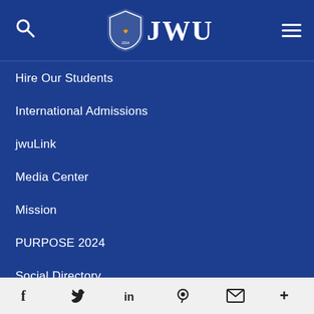[Figure (logo): JWU (Johnson & Wales University) header logo with shield emblem, search icon on left, hamburger menu on right, white on dark blue background]
Hire Our Students
International Admissions
jwuLink
Media Center
Mission
PURPOSE 2024
Social Directory
Terms of Use
Tuition & Aid
[Figure (infographic): Social sharing bar with icons: Facebook, Twitter, LinkedIn, Pinterest, Email, More]